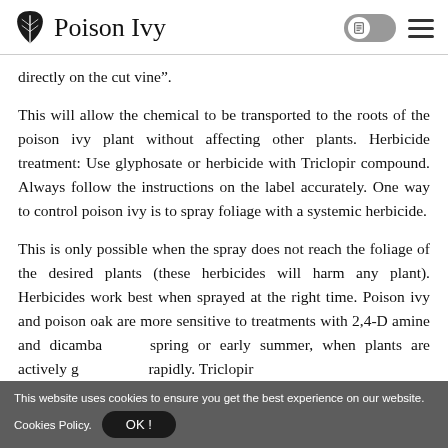Poison Ivy
directly on the cut vine”.
This will allow the chemical to be transported to the roots of the poison ivy plant without affecting other plants. Herbicide treatment: Use glyphosate or herbicide with Triclopir compound. Always follow the instructions on the label accurately. One way to control poison ivy is to spray foliage with a systemic herbicide.
This is only possible when the spray does not reach the foliage of the desired plants (these herbicides will harm any plant). Herbicides work best when sprayed at the right time. Poison ivy and poison oak are more sensitive to treatments with 2,4-D amine and dicamba in spring or early summer, when plants are actively growing rapidly. Triclopir offers the best control after the foliage has...
This website uses cookies to ensure you get the best experience on our website. Cookies Policy.